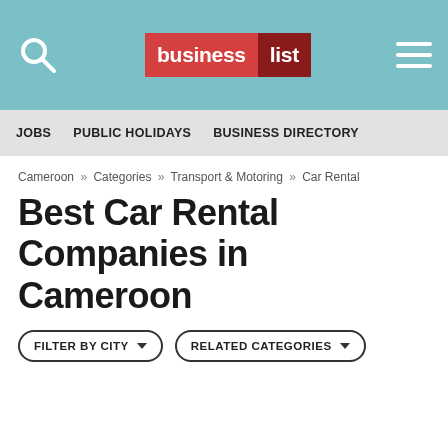business list
JOBS   PUBLIC HOLIDAYS   BUSINESS DIRECTORY
Cameroon » Categories » Transport & Motoring » Car Rental
Best Car Rental Companies in Cameroon
FILTER BY CITY ▾   RELATED CATEGORIES ▾